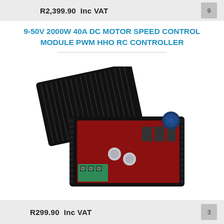R2,399.90  Inc VAT
9-50V 2000W 40A DC MOTOR SPEED CONTROL MODULE PWM HHO RC CONTROLLER
[Figure (photo): Photo of a 9-50V 2000W 40A DC Motor Speed Control Module PWM HHO RC Controller — a black rectangular device with its lid open, revealing a red PCB with capacitors, MOSFETs, a green terminal block connector and a blue control knob.]
R299.90  Inc VAT